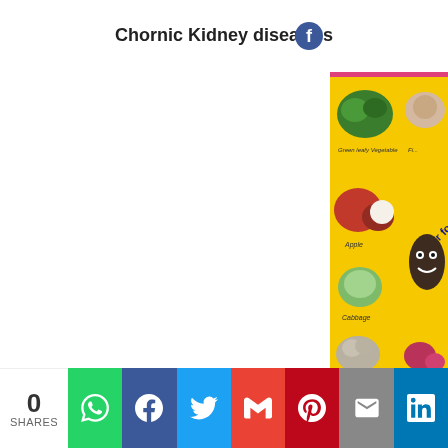Chornic Kidney diseases
[Figure (photo): A yellow poster showing 'Super Foods for' kidney health with images of Green Leafy Vegetables, Apple, Cabbage, Cauliflower, Onion, and a cartoon kidney character, partially cropped on the right side of the page.]
0 SHARES | WhatsApp | Facebook | Twitter | Gmail | Pinterest | Email | LinkedIn